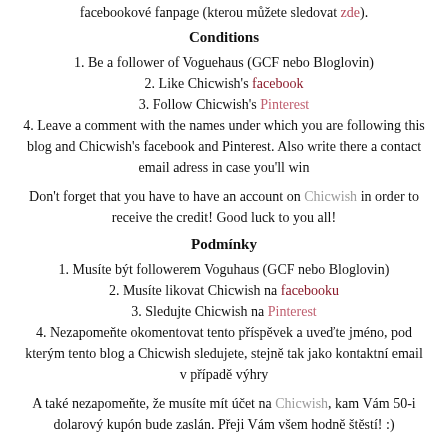facebookové fanpage (kterou můžete sledovat zde).
Conditions
1. Be a follower of Voguehaus (GCF nebo Bloglovin)
2. Like Chicwish's facebook
3. Follow Chicwish's Pinterest
4. Leave a comment with the names under which you are following this blog and Chicwish's facebook and Pinterest. Also write there a contact email adress in case you'll win
Don't forget that you have to have an account on Chicwish in order to receive the credit! Good luck to you all!
Podmínky
1. Musíte být followerem Voguhaus (GCF nebo Bloglovin)
2. Musíte likovat Chicwish na facebooku
3. Sledujte Chicwish na Pinterest
4. Nezapomeňte okomentovat tento příspěvek a uveďte jméno, pod kterým tento blog a Chicwish sledujete, stejně tak jako kontaktní email v případě výhry
A také nezapomeňte, že musíte mít účet na Chicwish, kam Vám 50-i dolarový kupón bude zaslán. Přeji Vám všem hodně štěstí! :)